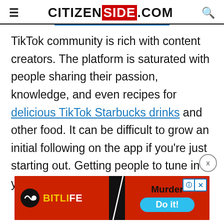CITIZENSIDE.COM
TikTok community is rich with content creators. The platform is saturated with people sharing their passion, knowledge, and even recipes for delicious TikTok Starbucks drinks and other food. It can be difficult to grow an initial following on the app if you're just starting out. Getting people to tune in to your livestream and
[Figure (screenshot): BitLife mobile app advertisement banner with red background, BitLife logo on the left, and 'Murder Do it!' text with a blue button on the right]